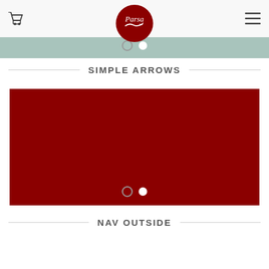Parsa logo with cart and hamburger menu
[Figure (screenshot): Teal/sage colored banner strip with two dot navigation indicators (one outlined, one filled white)]
SIMPLE ARROWS
[Figure (screenshot): Dark red/maroon colored banner/slider area with two dot navigation indicators at the bottom (one outlined, one filled white)]
NAV OUTSIDE